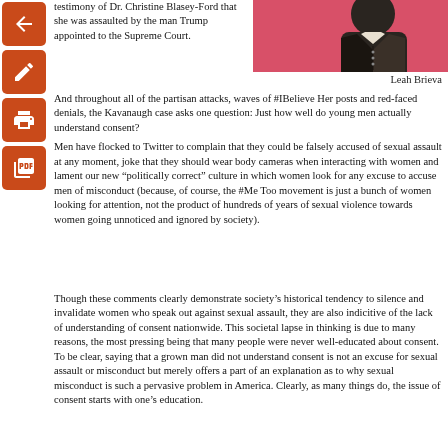testimony of Dr. Christine Blasey-Ford that she was assaulted by the man Trump appointed to the Supreme Court.
[Figure (photo): Person wearing dark jacket against pink/red background, partially visible headshot. Caption: Leah Brieva]
Leah Brieva
And throughout all of the partisan attacks, waves of #IBelieve Her posts and red-faced denials, the Kavanaugh case asks one question: Just how well do young men actually understand consent?
Men have flocked to Twitter to complain that they could be falsely accused of sexual assault at any moment, joke that they should wear body cameras when interacting with women and lament our new "politically correct" culture in which women look for any excuse to accuse men of misconduct (because, of course, the #Me Too movement is just a bunch of women looking for attention, not the product of hundreds of years of sexual violence towards women going unnoticed and ignored by society).
Though these comments clearly demonstrate society's historical tendency to silence and invalidate women who speak out against sexual assault, they are also indicitive of the lack of understanding of consent nationwide. This societal lapse in thinking is due to many reasons, the most pressing being that many people were never well-educated about consent. To be clear, saying that a grown man did not understand consent is not an excuse for sexual assault or misconduct but merely offers a part of an explanation as to why sexual misconduct is such a pervasive problem in America. Clearly, as many things do, the issue of consent starts with one's education.